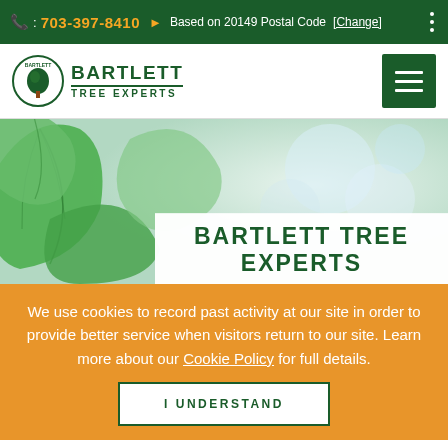: 703-397-8410  Based on 20149 Postal Code [Change]
[Figure (logo): Bartlett Tree Experts logo with circular tree emblem]
BARTLETT TREE EXPERTS
[Figure (photo): Blurred green leaves background hero image]
We use cookies to record past activity at our site in order to provide better service when visitors return to our site. Learn more about our Cookie Policy for full details.
I UNDERSTAND